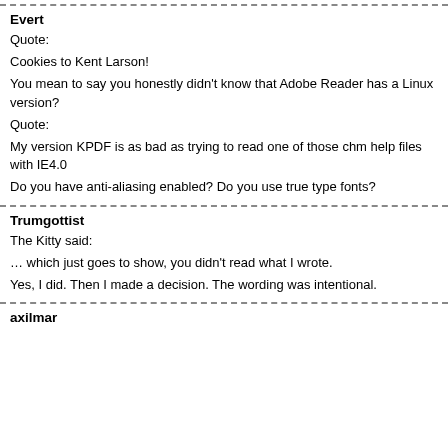Evert
Quote:
Cookies to Kent Larson!
You mean to say you honestly didn't know that Adobe Reader has a Linux version?
Quote:
My version KPDF is as bad as trying to read one of those chm help files with IE4.0
Do you have anti-aliasing enabled? Do you use true type fonts?
Trumgottist
The Kitty said:
… which just goes to show, you didn't read what I wrote.
Yes, I did. Then I made a decision. The wording was intentional.
axilmar